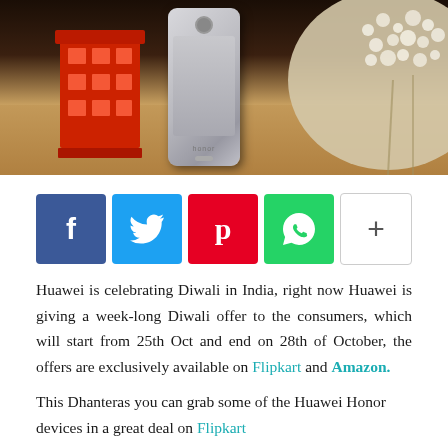[Figure (photo): A Huawei Honor smartphone leaning against a red miniature London phone booth/bus toy on a wooden table, with dried white flowers in the background.]
[Figure (infographic): Row of social media share buttons: Facebook (blue), Twitter (cyan), Pinterest (red), WhatsApp (green), and a grey plus/more button.]
Huawei is celebrating Diwali in India, right now Huawei is giving a week-long Diwali offer to the consumers, which will start from 25th Oct and end on 28th of October, the offers are exclusively available on Flipkart and Amazon.
This Dhanteras you can grab some of the Huawei Honor devices in a great deal on Flipkart